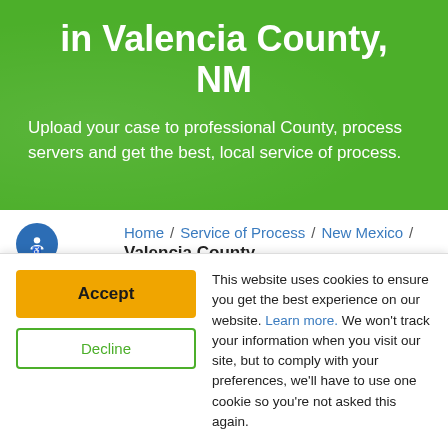in Valencia County, NM
Upload your case to professional County, process servers and get the best, local service of process.
Home / Service of Process / New Mexico / Valencia County
Get Started with Valencia County, NM Service of
This website uses cookies to ensure you get the best experience on our website. Learn more. We won't track your information when you visit our site, but to comply with your preferences, we'll have to use one cookie so you're not asked this again.